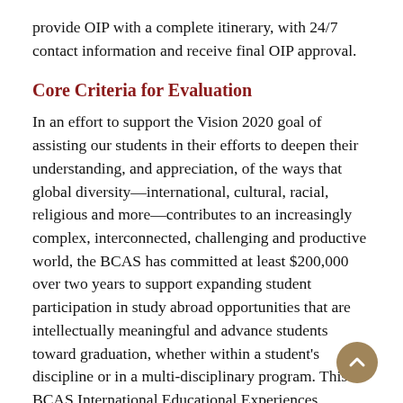provide OIP with a complete itinerary, with 24/7 contact information and receive final OIP approval.
Core Criteria for Evaluation
In an effort to support the Vision 2020 goal of assisting our students in their efforts to deepen their understanding, and appreciation, of the ways that global diversity—international, cultural, racial, religious and more—contributes to an increasingly complex, interconnected, challenging and productive world, the BCAS has committed at least $200,000 over two years to support expanding student participation in study abroad opportunities that are intellectually meaningful and advance students toward graduation, whether within a student's discipline or in a multi-disciplinary program. This BCAS International Educational Experiences Initiative (IEE) focuses on